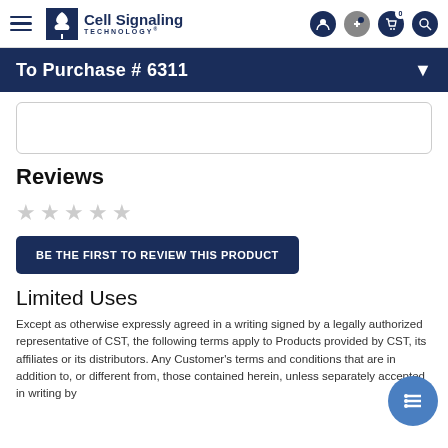Cell Signaling Technology
To Purchase # 6311
Reviews
★★★★★
BE THE FIRST TO REVIEW THIS PRODUCT
Limited Uses
Except as otherwise expressly agreed in a writing signed by a legally authorized representative of CST, the following terms apply to Products provided by CST, its affiliates or its distributors. Any Customer's terms and conditions that are in addition to, or different from, those contained herein, unless separately accepted in writing by